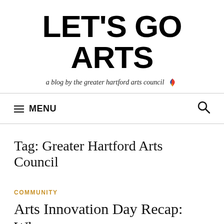LET'S GO ARTS
a blog by the greater hartford arts council 🔥
≡ MENU
Tag: Greater Hartford Arts Council
COMMUNITY
Arts Innovation Day Recap: Why the Comfort Zone is Not the End...